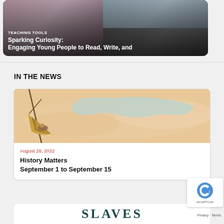[Figure (screenshot): Teaching Tools card with photos of educators and the title text overlay]
TEACHING TOOLS
Sparking Curiosity: Engaging Young People to Read, Write, and
IN THE NEWS
[Figure (illustration): Historical painting showing a sailing ship with a figure in a hammock, with a map outline visible in the background sky]
August 28, 2022
History Matters September 1 to September 15
[Figure (screenshot): Partial view of a book cover showing the word SLAVES in large teal letters]